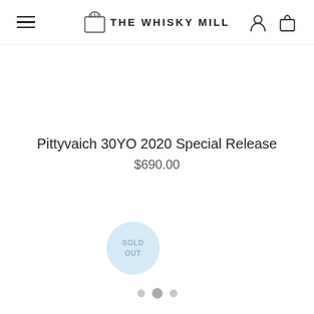THE WHISKY MILL
Pittyvaich 30YO 2020 Special Release
$690.00
[Figure (infographic): SOLD OUT badge — circular light blue badge with text SOLD OUT]
[Figure (infographic): Carousel pagination dots — three dots with the middle one active/larger]